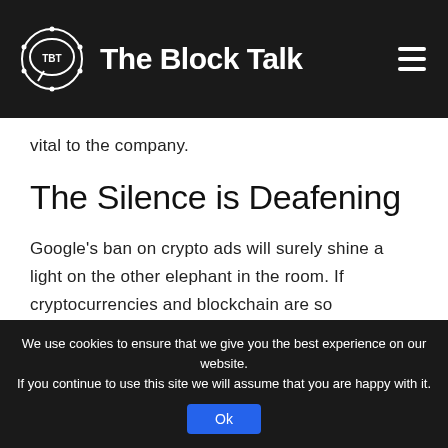The Block Talk
vital to the company.
The Silence is Deafening
Google's ban on crypto ads will surely shine a light on the other elephant in the room. If cryptocurrencies and blockchain are so revolutionary, why haven't they gotten on board with the technology yet?
We use cookies to ensure that we give you the best experience on our website. If you continue to use this site we will assume that you are happy with it. Ok